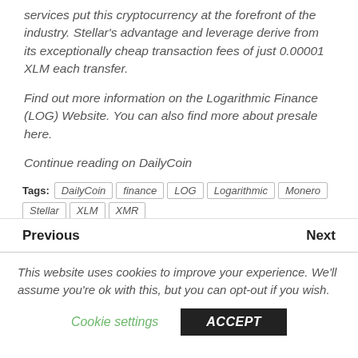services put this cryptocurrency at the forefront of the industry. Stellar's advantage and leverage derive from its exceptionally cheap transaction fees of just 0.00001 XLM each transfer.
Find out more information on the Logarithmic Finance (LOG) Website. You can also find more about presale here.
Continue reading on DailyCoin
Tags: DailyCoin | finance | LOG | Logarithmic | Monero | Stellar | XLM | XMR
Previous
Next
This website uses cookies to improve your experience. We'll assume you're ok with this, but you can opt-out if you wish.
Cookie settings
ACCEPT